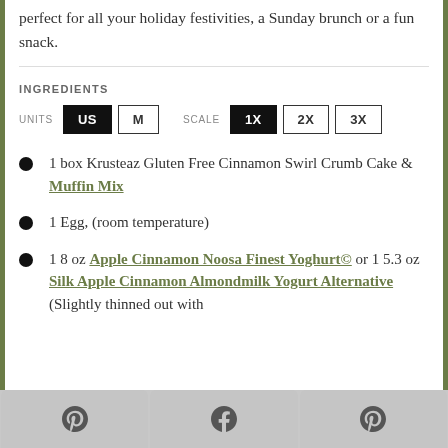perfect for all your holiday festivities, a Sunday brunch or a fun snack.
INGREDIENTS
UNITS: US | M   SCALE: 1X | 2X | 3X
1 box Krusteaz Gluten Free Cinnamon Swirl Crumb Cake & Muffin Mix
1 Egg, (room temperature)
1 8 oz Apple Cinnamon Noosa Finest Yoghurt© or 1 5.3 oz Silk Apple Cinnamon Almondmilk Yogurt Alternative (Slightly thinned out with
Pinterest | Facebook | Yummly